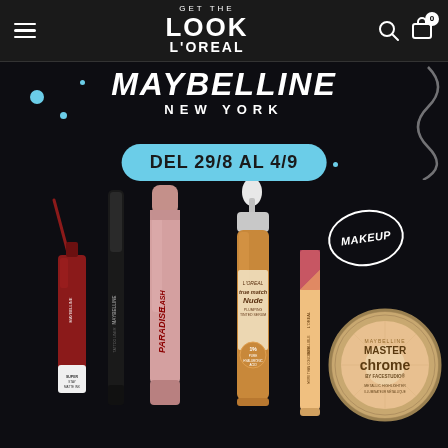GET THE LOOK L'OREAL — navigation bar with hamburger menu, search icon, cart icon with badge 0
MAYBELLINE NEW YORK
DEL 29/8 AL 4/9
[Figure (photo): Maybelline and L'Oreal makeup products arranged on black background: Maybelline Superstay Matte Ink lip product, mascara, Lash Paradise mascara in pink tube, L'Oreal True Match Nude Plumping Tinted Serum dropper bottle, L'Oreal Infallible concealer, Maybelline Master Chrome Metallic Highlighter compact. 'MAKEUP' text in handwritten circle overlay. Blue dot decorations and white squiggle decorations.]